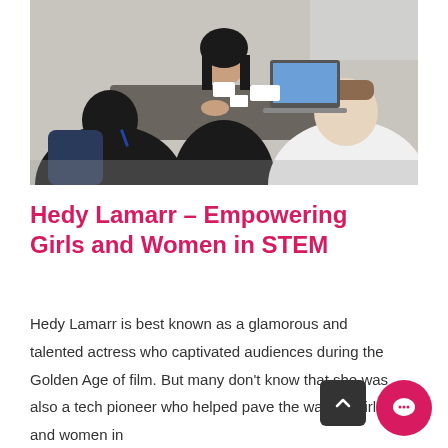[Figure (photo): Photo of people sitting around a table in a meeting or workshop setting. A woman in a black blazer with a name badge is at the center, facing two other individuals whose backs are to the camera. A laptop is visible on the table.]
Hedy Lamarr – Empowering Girls and Women in STEM
Hedy Lamarr is best known as a glamorous and talented actress who captivated audiences during the Golden Age of film. But many don't know that she was also a tech pioneer who helped pave the way for girls and women in